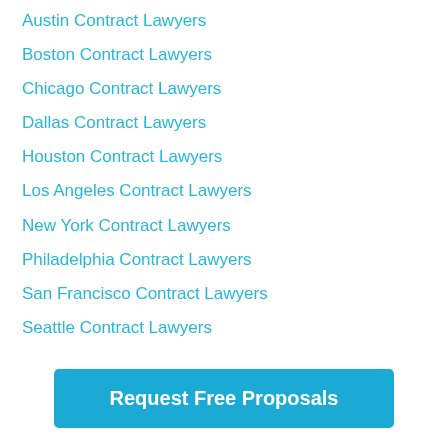Austin Contract Lawyers
Boston Contract Lawyers
Chicago Contract Lawyers
Dallas Contract Lawyers
Houston Contract Lawyers
Los Angeles Contract Lawyers
New York Contract Lawyers
Philadelphia Contract Lawyers
San Francisco Contract Lawyers
Seattle Contract Lawyers
Charlotte Contract Lawyers
Denver Contract Lawyers
Jacksonville Contract Lawyers
Las Vegas Contract Lawyers
Phoenix Contract Lawyers (partial)
Request Free Proposals